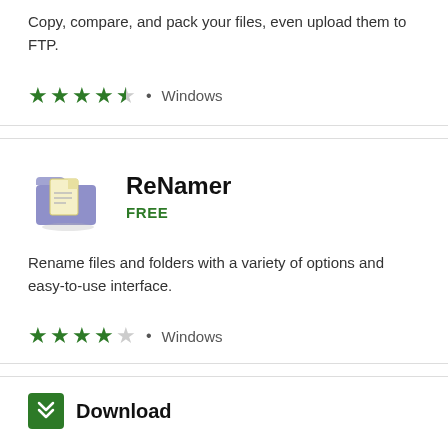Copy, compare, and pack your files, even upload them to FTP.
★★★★½ • Windows
[Figure (illustration): Folder icon with document, blue/yellow color scheme for ReNamer app]
ReNamer
FREE
Rename files and folders with a variety of options and easy-to-use interface.
★★★★☆ • Windows
Download